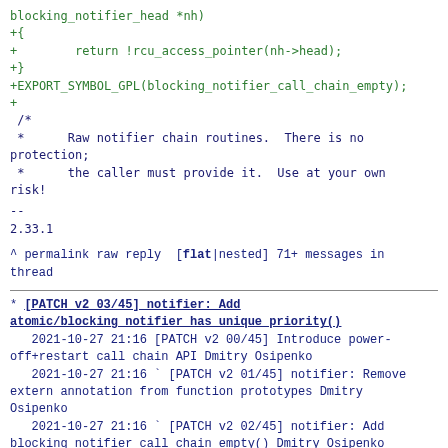blocking_notifier_head *nh)
+{
+        return !rcu_access_pointer(nh->head);
+}
+EXPORT_SYMBOL_GPL(blocking_notifier_call_chain_empty);
+
/*
  *      Raw notifier chain routines.  There is no protection;
  *      the caller must provide it.  Use at your own risk!
--
2.33.1
^ permalink raw reply  [flat|nested] 71+ messages in thread
* [PATCH v2 03/45] notifier: Add atomic/blocking notifier has unique priority()
   2021-10-27 21:16 [PATCH v2 00/45] Introduce power-off+restart call chain API Dmitry Osipenko
   2021-10-27 21:16 ` [PATCH v2 01/45] notifier: Remove extern annotation from function prototypes Dmitry Osipenko
   2021-10-27 21:16 ` [PATCH v2 02/45] notifier: Add blocking_notifier_call_chain_empty() Dmitry Osipenko
 @ 2021-10-27 21:16 ` Dmitry Osipenko
   2021-10-28 11:00   ` Andy Shevchenko